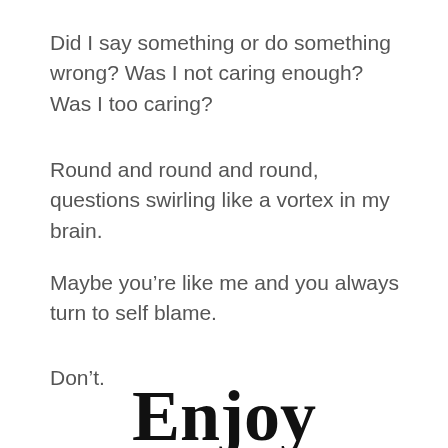Did I say something or do something wrong? Was I not caring enough? Was I too caring?
Round and round and round, questions swirling like a vortex in my brain.
Maybe you're like me and you always turn to self blame.
Don't.
Enjoy